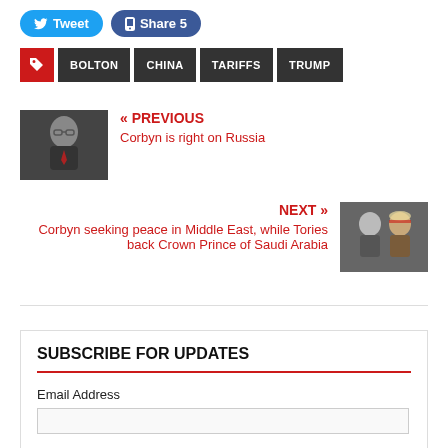[Figure (other): Tweet and Facebook Share social buttons]
BOLTON
CHINA
TARIFFS
TRUMP
[Figure (photo): Photo of Jeremy Corbyn]
« PREVIOUS
Corbyn is right on Russia
NEXT »
Corbyn seeking peace in Middle East, while Tories back Crown Prince of Saudi Arabia
[Figure (photo): Photo of Theresa May and Crown Prince of Saudi Arabia]
SUBSCRIBE FOR UPDATES
Email Address